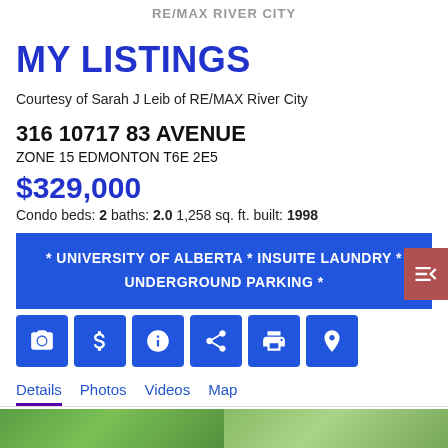RE/MAX RIVER CITY
MY LISTINGS
Courtesy of Sarah J Leib of RE/MAX River City
316 10717 83 AVENUE
ZONE 15 EDMONTON T6E 2E5
$329,000
Condo beds: 2 baths: 2.0 1,258 sq. ft. built: 1998
* UNIVERSITY OF ALBERTA * INSUITE LAUNDRY * UNDERGROUND PARKING *
[Figure (screenshot): Row of blue icon buttons: camera, dollar sign, info, share, print, map pin]
Details  Photos  Videos  Map
[Figure (photo): Two property photos side by side at bottom of page, showing greenery/exterior]